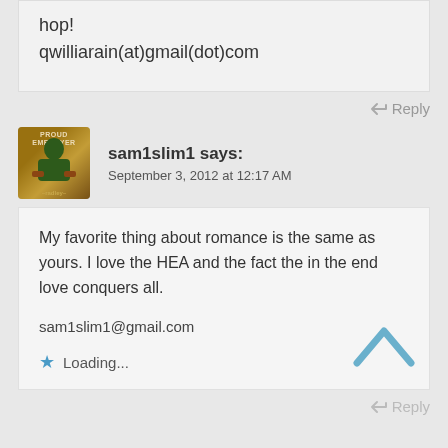hop!
qwilliarain(at)gmail(dot)com
Reply
sam1slim1 says:
September 3, 2012 at 12:17 AM
My favorite thing about romance is the same as yours. I love the HEA and the fact the in the end love conquers all.

sam1slim1@gmail.com
Loading...
Reply